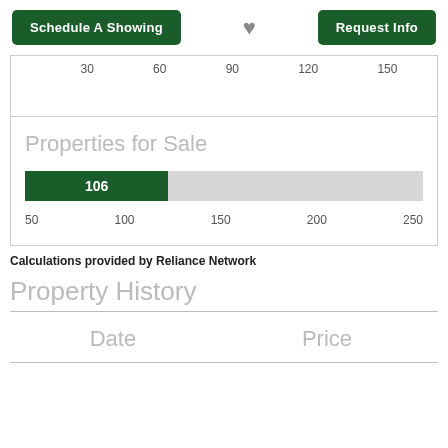Schedule A Showing | [heart] | Request Info
[Figure (bar-chart): Properties for Sale]
Calculations provided by Reliance Network
Property History
| Date | Price |
| --- | --- |